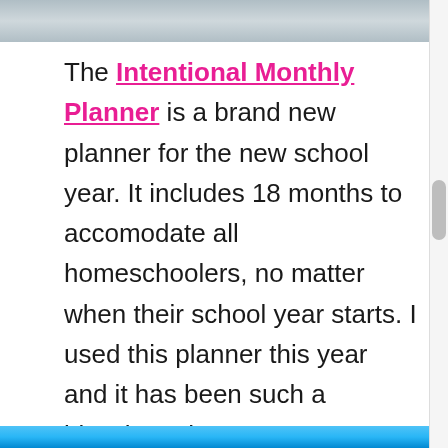[Figure (photo): Top partial image strip, appears to be a cropped photo, gray/blurred]
The Intentional Monthly Planner is a brand new planner for the new school year. It includes 18 months to accomodate all homeschoolers, no matter when their school year starts. I used this planner this year and it has been such a blessing! I have 4 new ones now on my shelf ready for me when I sit down to do my planning for next year. Love it!
[Figure (photo): Bottom partial image strip, appears to be a photo with blue/teal water or background]